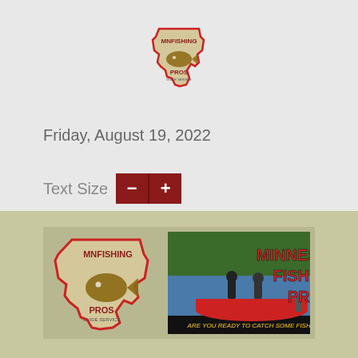[Figure (logo): MNFishing Pros logo - Minnesota state shape outline in red with a fish illustration inside, 'MNFISHING' text at top and 'PROS' at bottom]
Friday, August 19, 2022
Text Size - +
[Figure (logo): Minnesota Fishing Pros banner with logo on left showing Minnesota state shape with fish, and on right a photo of two people fishing from a red boat on a lake with trees in background, text reads 'MINNESOTA FISHING PROS' and 'ARE YOU READY TO CATCH SOME FISH?']